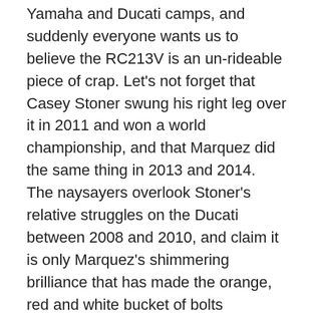Yamaha and Ducati camps, and suddenly everyone wants us to believe the RC213V is an un-rideable piece of crap. Let's not forget that Casey Stoner swung his right leg over it in 2011 and won a world championship, and that Marquez did the same thing in 2013 and 2014. The naysayers overlook Stoner's relative struggles on the Ducati between 2008 and 2010, and claim it is only Marquez's shimmering brilliance that has made the orange, red and white bucket of bolts competitive over the last two years.
Bologna.
Cal Crutchlow and Scott Redding have added fuel to this fire by asserting that the Honda is much harder to ride than they had anticipated. This sounds like Redding making excuses for a slow transition to new equipment